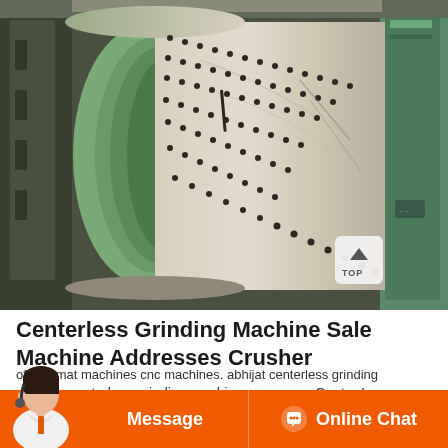[Figure (photo): Large industrial cylindrical grinding machine drum with bolt/rivet dot patterns on its surface, green metal rim on left side, photographed in an industrial factory setting]
Centerless Grinding Machine Sale Machine Addresses Crusher
nterless centerless grinding machines germany. Center Less
of automat machines cnc machines. abhijat centerless grinding